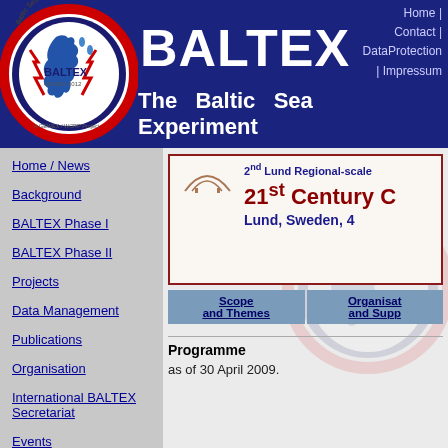[Figure (logo): BALTEX Baltic Sea Experiment circular logo with blue map of Baltic Sea, red frame, text 'A GEWEX / WCRP Project']
BALTEX
The Baltic Sea Experiment
Home | Contact | DataProtection | Impressum
Home / News
Background
BALTEX Phase I
BALTEX Phase II
Projects
Data Management
Publications
Organisation
International BALTEX Secretariat
Events
Links
2nd Lund Regional-scale
21st Century C
Lund, Sweden, 4
| Scope and Themes | Organisation and Supp |
| --- | --- |
Programme
as of 30 April 2009.